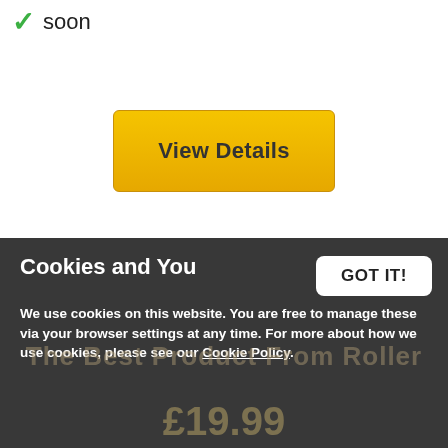soon
[Figure (screenshot): Yellow 'View Details' button with bold dark text on a yellow/gold background with rounded corners]
Cookies and You
GOT IT!
We use cookies on this website. You are free to manage these via your browser settings at any time. For more about how we use cookies, please see our Cookie Policy.
£19.99